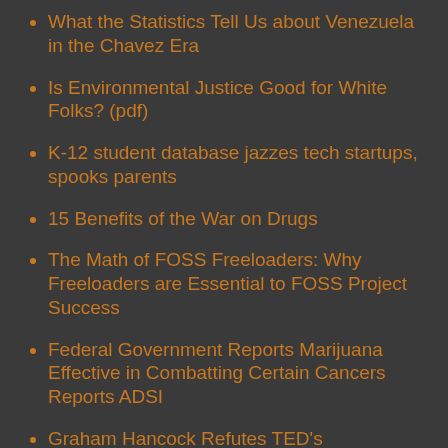What the Statistics Tell Us about Venezuela in the Chavez Era
Is Environmental Justice Good for White Folks? (pdf)
K-12 student database jazzes tech startups, spooks parents
15 Benefits of the War on Drugs
The Math of FOSS Freeloaders: Why Freeloaders are Essential to FOSS Project Success
Federal Government Reports Marijuana Effective in Combatting Certain Cancers Reports ADSI
Graham Hancock Refutes TED's Allegations,